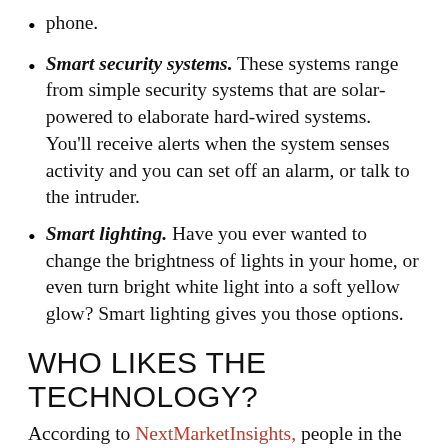phone.
Smart security systems. These systems range from simple security systems that are solar-powered to elaborate hard-wired systems. You'll receive alerts when the system senses activity and you can set off an alarm, or talk to the intruder.
Smart lighting. Have you ever wanted to change the brightness of lights in your home, or even turn bright white light into a soft yellow glow? Smart lighting gives you those options.
WHO LIKES THE TECHNOLOGY?
According to NextMarketInsights, people in the Gen X age group buy lots of smart technology, which isn't surprising since that generation is very tech-savvy. However, one survey found that 68% of Millennials think that smart technology is a good investment.